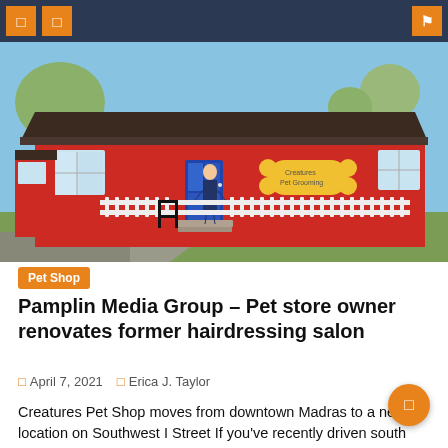navigation header with menu and search icons
[Figure (photo): Exterior of Creatures Pet Shop — a red-painted single-story building with brown roof, white picket fence, black railing, and a person standing at the blue entrance door. A yellow bone-shaped sign is on the building. Blue sky and green lawn visible.]
Pet Shop
Pamplin Media Group – Pet store owner renovates former hairdressing salon
April 7, 2021   Erica J. Taylor
Creatures Pet Shop moves from downtown Madras to a new location on Southwest I Street If you've recently driven south